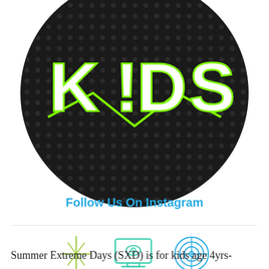[Figure (logo): Circular dark logo with the text 'KIDS' in white block letters outlined with bright green neon lines, on a dark textured background with dot pattern.]
Follow Us On Instagram
[Figure (illustration): Three outline icons in gradient teal/green colors: a cross/compass rose icon, a monitor/TV with an eye icon, and a radar/target circle icon.]
Summer Extreme Days (SXD) is for kids age 4yrs-